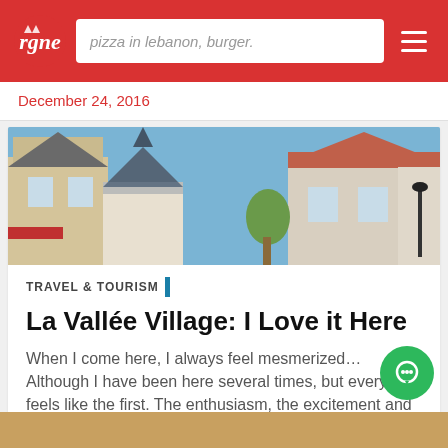pizza in lebanon, burger.
December 24, 2016
[Figure (photo): Street view of La Vallée Village shopping area with European-style buildings, terracotta rooftops, and blue sky]
TRAVEL & TOURISM
La Vallée Village: I Love it Here
When I come here, I always feel mesmerized… Although I have been here several times, but every time feels like the first. The enthusiasm, the excitement and the experience is amazig
November 21, 2016 | Paris